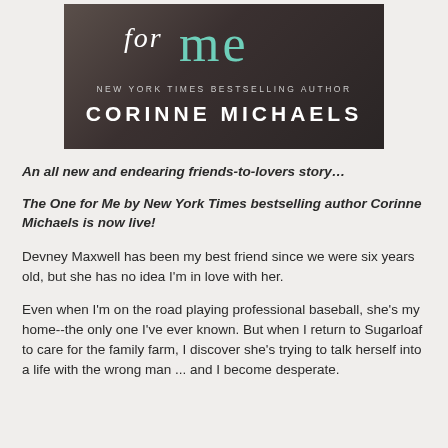[Figure (illustration): Book cover for 'The One for Me' by New York Times Bestselling Author Corinne Michaels. Dark background with script 'for' and large teal 'me' text, author name in white uppercase letters.]
An all new and endearing friends-to-lovers story…
The One for Me by New York Times bestselling author Corinne Michaels is now live!
Devney Maxwell has been my best friend since we were six years old, but she has no idea I'm in love with her.
Even when I'm on the road playing professional baseball, she's my home--the only one I've ever known. But when I return to Sugarloaf to care for the family farm, I discover she's trying to talk herself into a life with the wrong man ... and I become desperate.